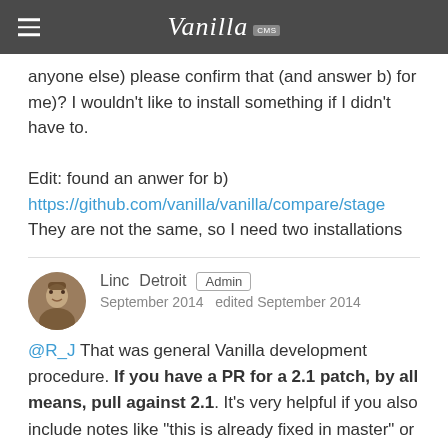Vanilla CMS
anyone else) please confirm that (and answer b) for me)? I wouldn't like to install something if I didn't have to.

Edit: found an anwer for b)
https://github.com/vanilla/vanilla/compare/stage
They are not the same, so I need two installations
Linc  Detroit  Admin
September 2014  edited September 2014
@R_J That was general Vanilla development procedure. If you have a PR for a 2.1 patch, by all means, pull against 2.1. It's very helpful if you also include notes like "this is already fixed in master" or "this should go to master" or "this is still a problem in master but this won't fix it" - but not required, certainly.